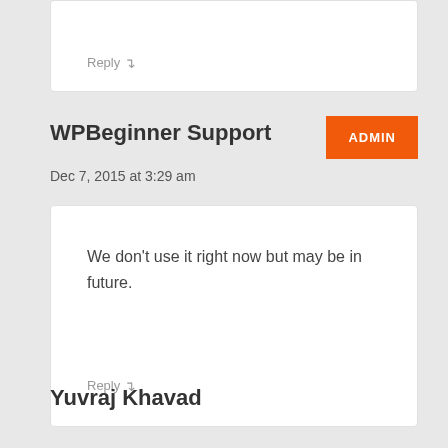Reply ↴
WPBeginner Support
ADMIN
Dec 7, 2015 at 3:29 am
We don't use it right now but may be in future.
Reply ↴
Yuvraj Khavad